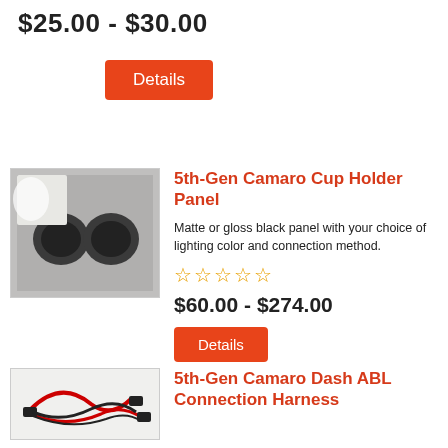$25.00 - $30.00
Details
[Figure (photo): Photo of a 5th-Gen Camaro cup holder panel, showing two circular cup holders in a gray/silver interior panel]
5th-Gen Camaro Cup Holder Panel
Matte or gloss black panel with your choice of lighting color and connection method.
☆☆☆☆☆
$60.00 - $274.00
Details
[Figure (photo): Photo of a 5th-Gen Camaro Dash ABL Connection Harness, showing red and black wiring harness with connectors]
5th-Gen Camaro Dash ABL Connection Harness